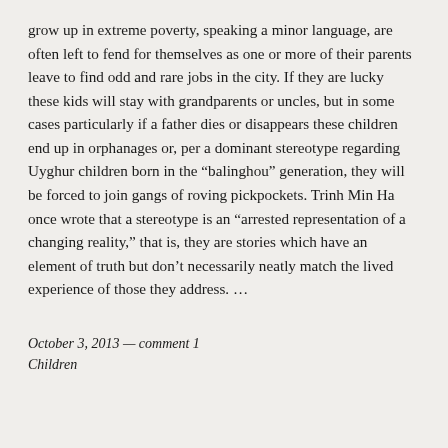grow up in extreme poverty, speaking a minor language, are often left to fend for themselves as one or more of their parents leave to find odd and rare jobs in the city. If they are lucky these kids will stay with grandparents or uncles, but in some cases particularly if a father dies or disappears these children end up in orphanages or, per a dominant stereotype regarding Uyghur children born in the “balinghou” generation, they will be forced to join gangs of roving pickpockets. Trinh Min Ha once wrote that a stereotype is an “arrested representation of a changing reality,” that is, they are stories which have an element of truth but don’t necessarily neatly match the lived experience of those they address. …
October 3, 2013 — comment 1
Children